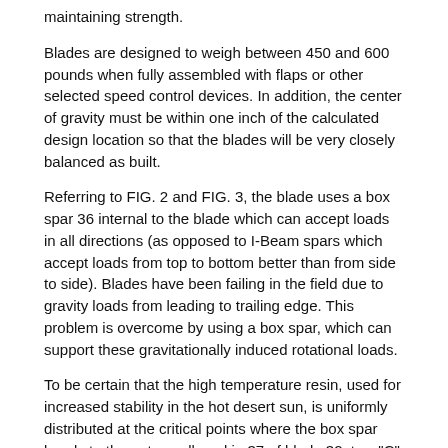maintaining strength.
Blades are designed to weigh between 450 and 600 pounds when fully assembled with flaps or other selected speed control devices. In addition, the center of gravity must be within one inch of the calculated design location so that the blades will be very closely balanced as built.
Referring to FIG. 2 and FIG. 3, the blade uses a box spar 36 internal to the blade which can accept loads in all directions (as opposed to I-Beam spars which accept loads from top to bottom better than from side to side). Blades have been failing in the field due to gravity loads from leading to trailing edge. This problem is overcome by using a box spar, which can support these gravitationally induced rotational loads.
To be certain that the high temperature resin, used for increased stability in the hot desert sun, is uniformly distributed at the critical points where the box spar bonds to the outer wall or skin 37 of blade 32, two "C" channels 38 are used running the span of the blade. This quality control feature assures that cracks will not start and propagate between spar 36 and outer skin 37. Small even shaped